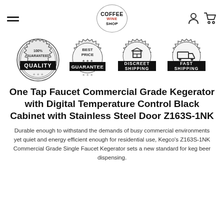Coffee Wine Shop
[Figure (infographic): Four circular badge icons: 100% Guaranteed Quality, Best Price Guarantee, Discreet Shipping, Fast Shipping]
One Tap Faucet Commercial Grade Kegerator with Digital Temperature Control Black Cabinet with Stainless Steel Door Z163S-1NK
Durable enough to withstand the demands of busy commercial environments yet quiet and energy efficient enough for residential use, Kegco's Z163S-1NK Commercial Grade Single Faucet Kegerator sets a new standard for keg beer dispensing.